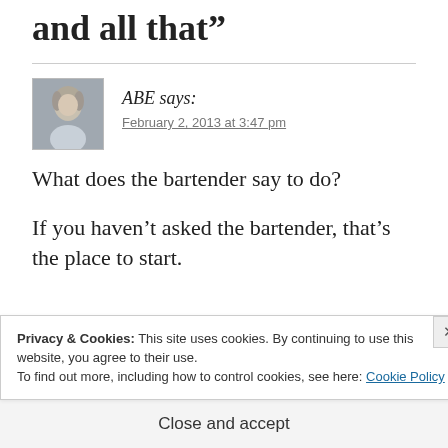and all that”
ABE says:
February 2, 2013 at 3:47 pm
What does the bartender say to do?
If you haven’t asked the bartender, that’s the place to start.
Privacy & Cookies: This site uses cookies. By continuing to use this website, you agree to their use.
To find out more, including how to control cookies, see here: Cookie Policy
Close and accept